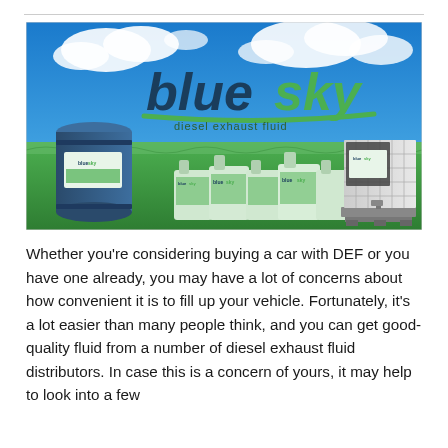[Figure (photo): Blue Sky Diesel Exhaust Fluid product advertisement banner showing a blue sky with clouds, green grass field background, with the 'blue sky' logo in large blue and green text, tagline 'diesel exhaust fluid', and various product containers: a large blue drum on the left, multiple jugs/containers in the center, and a large IBC tote on the right.]
Whether you're considering buying a car with DEF or you have one already, you may have a lot of concerns about how convenient it is to fill up your vehicle. Fortunately, it's a lot easier than many people think, and you can get good-quality fluid from a number of diesel exhaust fluid distributors. In case this is a concern of yours, it may help to look into a few